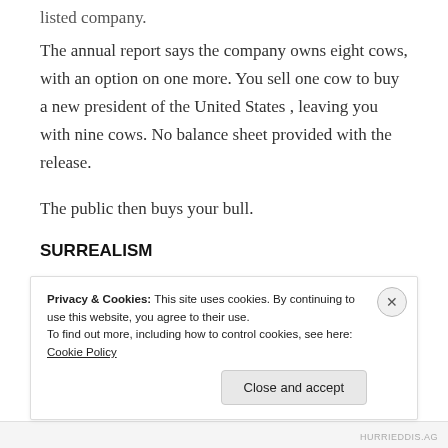listed company.
The annual report says the company owns eight cows, with an option on one more. You sell one cow to buy a new president of the United States , leaving you with nine cows. No balance sheet provided with the release.
The public then buys your bull.
SURREALISM
You have two giraffes. The government requires
Privacy & Cookies: This site uses cookies. By continuing to use this website, you agree to their use.
To find out more, including how to control cookies, see here: Cookie Policy
Close and accept